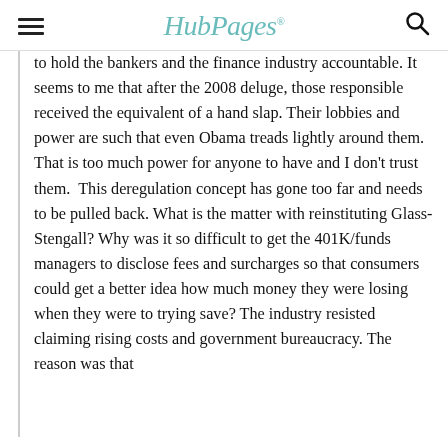HubPages
to hold the bankers and the finance industry accountable. It seems to me that after the 2008 deluge, those responsible received the equivalent of a hand slap. Their lobbies and power are such that even Obama treads lightly around them. That is too much power for anyone to have and I don't trust them.  This deregulation concept has gone too far and needs to be pulled back. What is the matter with reinstituting Glass-Stengall? Why was it so difficult to get the 401K/funds managers to disclose fees and surcharges so that consumers could get a better idea how much money they were losing when they were to trying save? The industry resisted claiming rising costs and government bureaucracy. The reason was that